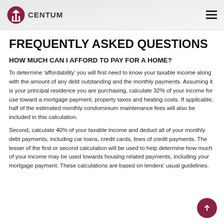CENTUM
FREQUENTLY ASKED QUESTIONS
HOW MUCH CAN I AFFORD TO PAY FOR A HOME?
To determine ‘affordability’ you will first need to know your taxable income along with the amount of any debt outstanding and the monthly payments. Assuming it is your principal residence you are purchasing, calculate 32% of your income for use toward a mortgage payment, property taxes and heating costs. If applicable, half of the estimated monthly condominium maintenance fees will also be included in this calculation.
Second, calculate 40% of your taxable income and deduct all of your monthly debt payments, including car loans, credit cards, lines of credit payments. The lesser of the first or second calculation will be used to help determine how much of your income may be used towards housing related payments, including your mortgage payment. These calculations are based on lenders’ usual guidelines.